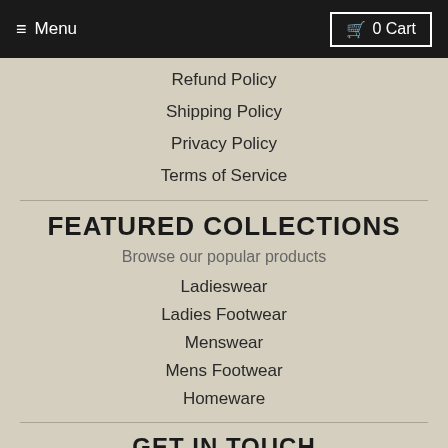Menu | 0 Cart
Refund Policy
Shipping Policy
Privacy Policy
Terms of Service
FEATURED COLLECTIONS
Browse our popular products
Ladieswear
Ladies Footwear
Menswear
Mens Footwear
Homeware
GET IN TOUCH
01584 872786 | Contact Us